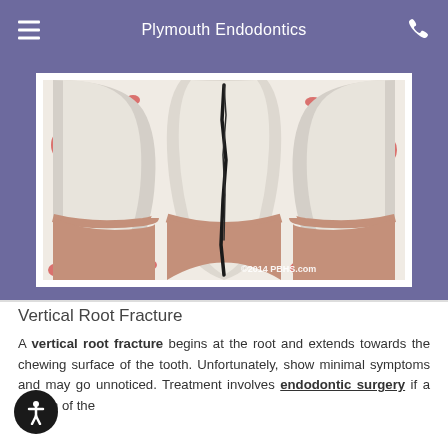Plymouth Endodontics
[Figure (illustration): Medical illustration showing a cross-section of a tooth with a vertical root fracture visible as a dark crack running from the root upward, surrounded by bone tissue with red blood vessels. Copyright 2014 PBHS.com watermark in bottom right.]
Vertical Root Fracture
A vertical root fracture begins at the root and extends towards the chewing surface of the tooth. Unfortunately, show minimal symptoms and may go unnoticed. Treatment involves endodontic surgery if a portion of the